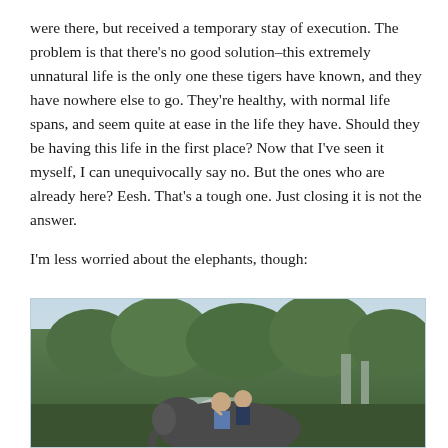were there, but received a temporary stay of execution. The problem is that there's no good solution–this extremely unnatural life is the only one these tigers have known, and they have nowhere else to go. They're healthy, with normal life spans, and seem quite at ease in the life they have. Should they be having this life in the first place? Now that I've seen it myself, I can unequivocally say no. But the ones who are already here? Eesh. That's a tough one. Just closing it is not the answer.
I'm less worried about the elephants, though:
[Figure (photo): Two people riding on the back of an elephant outdoors, surrounded by green trees and foliage, with a light misty sky in the background.]